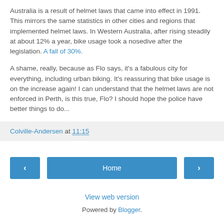Australia is a result of helmet laws that came into effect in 1991. This mirrors the same statistics in other cities and regions that implemented helmet laws. In Western Australia, after rising steadily at about 12% a year, bike usage took a nosedive after the legislation. A fall of 30%.
A shame, really, because as Flo says, it's a fabulous city for everything, including urban biking. It's reassuring that bike usage is on the increase again! I can understand that the helmet laws are not enforced in Perth, is this true, Flo? I should hope the police have better things to do...
Colville-Andersen at 11:15
Home
View web version
Powered by Blogger.